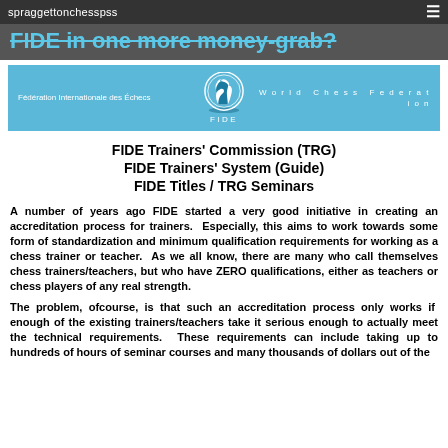spraggettonchesspss
FIDE in one more money-grab?
[Figure (logo): FIDE World Chess Federation banner with chess knight logo, text: Fédération Internationale des Échecs | World Chess Federation]
FIDE Trainers' Commission (TRG)
FIDE Trainers' System (Guide)
FIDE Titles / TRG Seminars
A number of years ago FIDE started a very good initiative in creating an accreditation process for trainers.  Especially, this aims to work towards some form of standardization and minimum qualification requirements for working as a chess trainer or teacher.  As we all know, there are many who call themselves chess trainers/teachers, but who have ZERO qualifications, either as teachers or chess players of any real strength.
The problem, ofcourse, is that such an accreditation process only works if  enough of the existing trainers/teachers take it serious enough to actually meet the technical requirements.  These requirements can include taking up to hundreds of hours of seminar courses and many thousands of dollars out of the